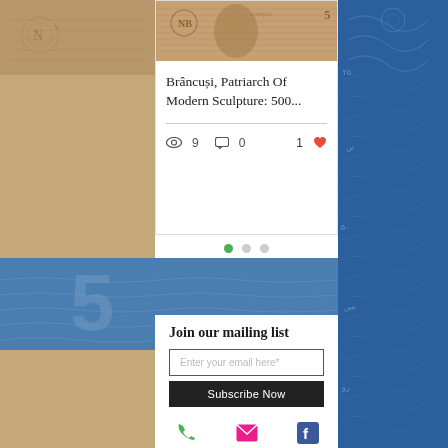[Figure (photo): Blog post card showing a banknote image at top with title 'Brâncuși, Patriarch Of Modern Sculpture: 500...' and stats: 9 views, 0 comments, 1 like]
Brâncuși, Patriarch Of Modern Sculpture: 500...
9  0  1
[Figure (other): Carousel dot indicators: one green dot (active) and two grey dots]
[Figure (photo): Blue banknote background banner image]
Join our mailing list
Enter your email here*
Subscribe Now
[Figure (other): Footer social icons: phone (green), email/envelope (pink), Facebook (blue)]
[Figure (photo): Left side brown/tan banknote decorative background]
[Figure (photo): Right side blue decorative banknote background]